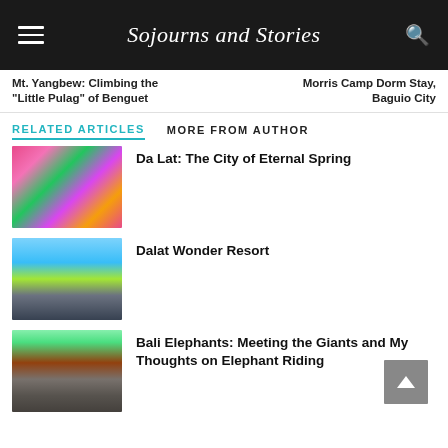Sojourns and Stories
Mt. Yangbew: Climbing the "Little Pulag" of Benguet
Morris Camp Dorm Stay, Baguio City
RELATED ARTICLES   MORE FROM AUTHOR
[Figure (photo): Flower field with pink and colorful flowers, a person walking through]
Da Lat: The City of Eternal Spring
[Figure (photo): Aerial view of a resort with lake, green lawns, and small houses]
Dalat Wonder Resort
[Figure (photo): Elephants at a sanctuary, a person interacting with an elephant]
Bali Elephants: Meeting the Giants and My Thoughts on Elephant Riding